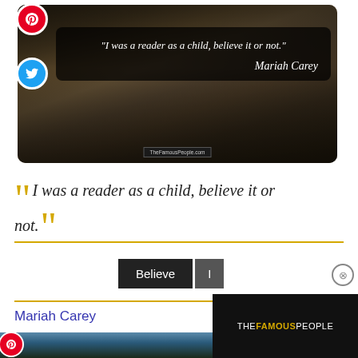[Figure (photo): Quote image card with horses running in background, dark overlay, white italic quote text reading '"I was a reader as a child, believe it or not."' with Mariah Carey signature and TheFamousPeople.com watermark. Pinterest and Twitter share icons on the left side.]
“I was a reader as a child, believe it or not.”
Believe  I
Mariah Carey
[Figure (photo): Bottom strip showing partial landscape/nature scene with Pinterest icon overlay, and THEFAMOUSPEOPLE dark panel on the right.]